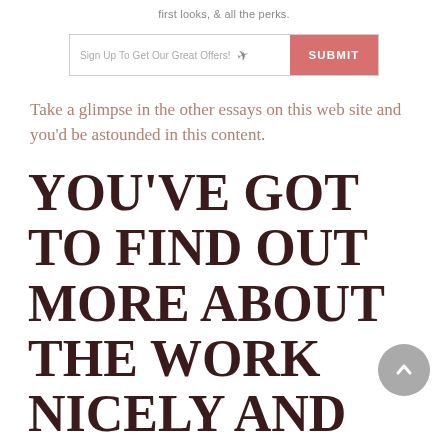first looks, & all the perks.
[Figure (other): Email signup form with text input 'Sign Up To Get Our Great Offers!' and a salmon/pink SUBMIT button]
Take a glimpse in the other essays on this web site and you'd be astounded in this content.
YOU'VE GOT TO FIND OUT MORE ABOUT THE WORK NICELY AND PRODUCE A CUSTOMIZED